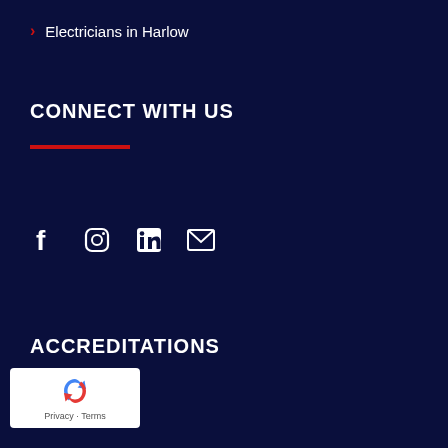Electricians in Harlow
CONNECT WITH US
[Figure (other): Social media icons: Facebook, Instagram, LinkedIn, Email/envelope]
ACCREDITATIONS
[Figure (other): Google reCAPTCHA widget with Privacy and Terms links]